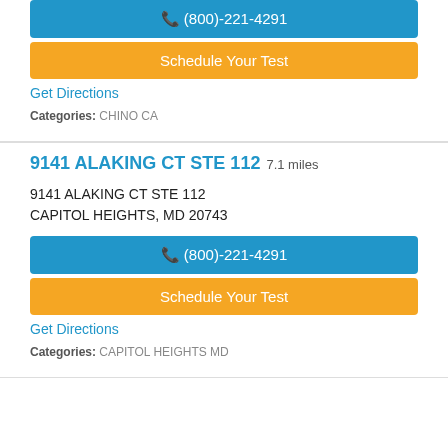CHINO, CA 71713
(800)-221-4291
Schedule Your Test
Get Directions
Categories: CHINO CA
9141 ALAKING CT STE 112 7.1 miles
9141 ALAKING CT STE 112
CAPITOL HEIGHTS, MD 20743
(800)-221-4291
Schedule Your Test
Get Directions
Categories: CAPITOL HEIGHTS MD